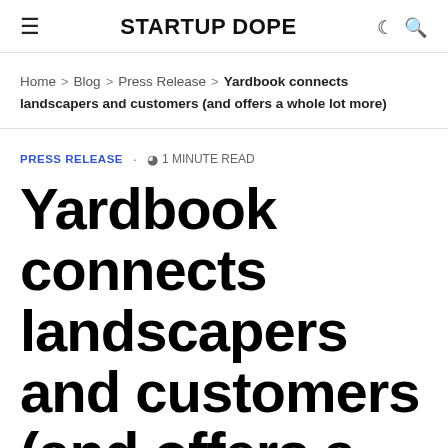STARTUP DOPE
Home > Blog > Press Release > Yardbook connects landscapers and customers (and offers a whole lot more)
PRESS RELEASE · 1 MINUTE READ
Yardbook connects landscapers and customers (and offers a whole lot more)